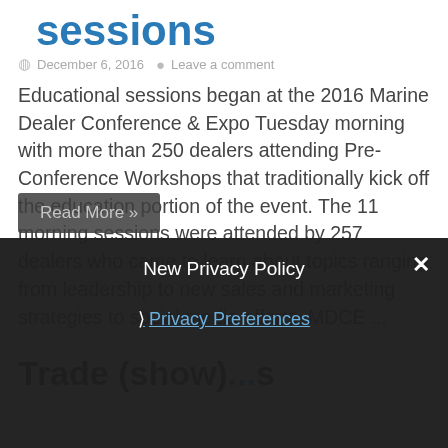sessions
December 6, 2016   Leave a comment
Educational sessions began at the 2016 Marine Dealer Conference & Expo Tuesday morning with more than 250 dealers attending Pre-Conference Workshops that traditionally kick off the education portion of the event. The 11 morning sessions were attended by 257 dealers who came to learn about topics ranging from leadership to new sales and marketing strategies to social media efforts. MDCE ...
Read More »
Trade (show) ...s
New Privacy Policy
Privacy Preferences
I Agree